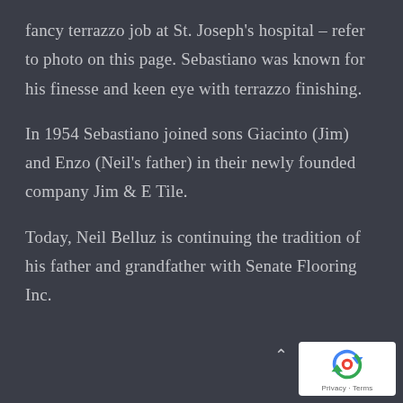fancy terrazzo job at St. Joseph's hospital – refer to photo on this page. Sebastiano was known for his finesse and keen eye with terrazzo finishing.
In 1954 Sebastiano joined sons Giacinto (Jim) and Enzo (Neil's father) in their newly founded company Jim & E Tile.
Today, Neil Belluz is continuing the tradition of his father and grandfather with Senate Flooring Inc.
[Figure (logo): reCAPTCHA logo badge with Privacy and Terms links]